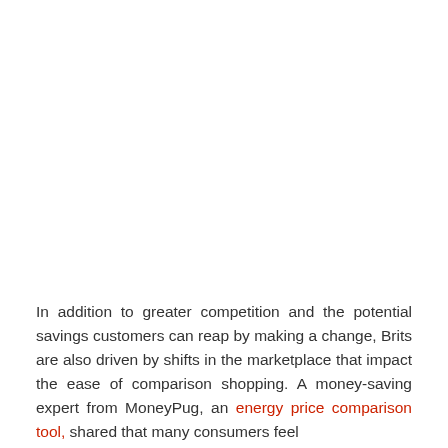In addition to greater competition and the potential savings customers can reap by making a change, Brits are also driven by shifts in the marketplace that impact the ease of comparison shopping. A money-saving expert from MoneyPug, an energy price comparison tool, shared that many consumers feel